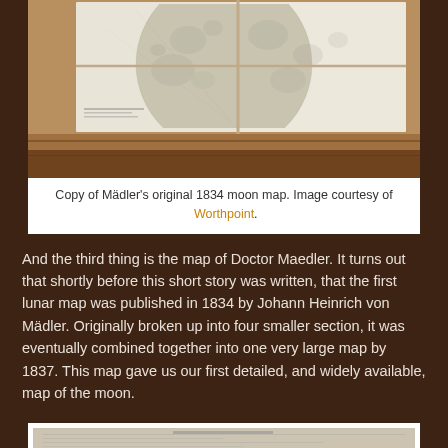[Figure (photo): Photograph of a copy of Mädler's original 1834 moon map, showing four quadrant sections of the moon map laid out on a wooden table surface.]
Copy of Mädler's original 1834 moon map. Image courtesy of Worthpoint.
And the third thing is the map of Doctor Maedler. It turns out that shortly before this short story was written, that the first lunar map was published in 1834 by Johann Heinrich von Mädler. Originally broken up into four smaller section, it was eventually combined together into one very large map by 1837. This map gave us our first detailed, and widely available, map of the moon.
[Figure (photo): Partial view of what appears to be a historical map or document at the bottom of the page.]